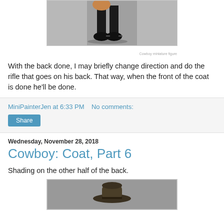[Figure (photo): Partial photo of a painted miniature figure showing boots and legs]
With the back done, I may briefly change direction and do the rifle that goes on his back. That way, when the front of the coat is done he'll be done.
MiniPainterJen at 6:33 PM   No comments:
Share
Wednesday, November 28, 2018
Cowboy: Coat, Part 6
Shading on the other half of the back.
[Figure (photo): Bottom portion of a painted miniature cowboy figure showing hat area on grey background]